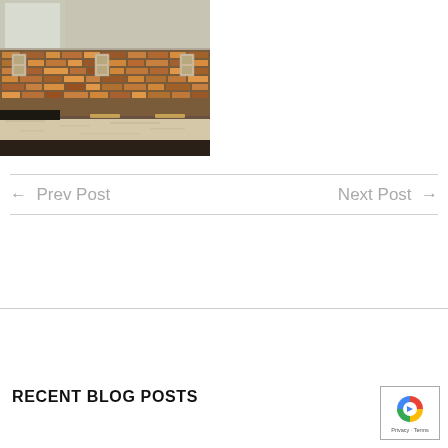[Figure (photo): Kitchen backsplash photo showing mosaic tile in warm amber/brown tones, under-cabinet lighting, granite countertop, white upper cabinets, and dark lower cabinets]
← Prev Post
Next Post →
RECENT BLOG POSTS
[Figure (logo): Google reCAPTCHA badge with blue and red logo icon and Privacy · Terms text]